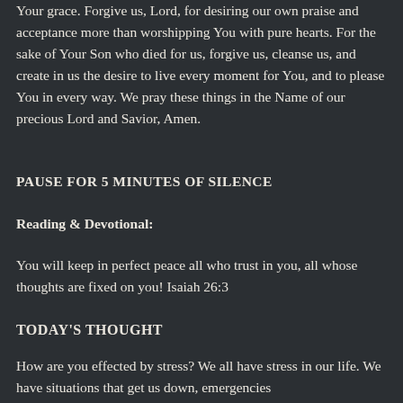Your grace. Forgive us, Lord, for desiring our own praise and acceptance more than worshipping You with pure hearts. For the sake of Your Son who died for us, forgive us, cleanse us, and create in us the desire to live every moment for You, and to please You in every way. We pray these things in the Name of our precious Lord and Savior, Amen.
PAUSE FOR 5 MINUTES OF SILENCE
Reading & Devotional:
You will keep in perfect peace all who trust in you, all whose thoughts are fixed on you! Isaiah 26:3
TODAY'S THOUGHT
How are you effected by stress? We all have stress in our life. We have situations that get us down, emergencies